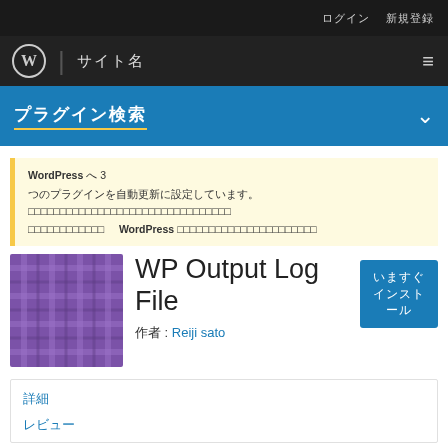ログイン　新規登録
WordPress | サイト名
プラグイン検索
WordPress へ 3 つのプラグインを自動更新に設定しています。プラグインページへ　WordPress のバックアップが必要ですか？
WP Output Log File
作者: Reiji sato
いますぐインストール
詳細
レビュー